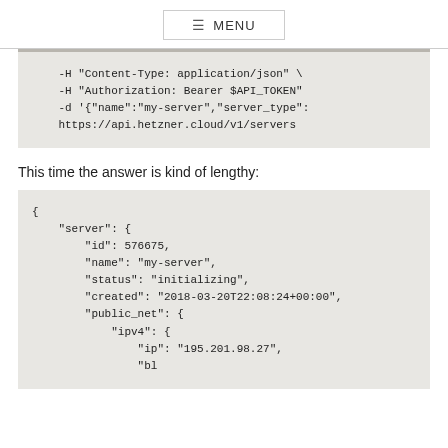≡ MENU
-H "Content-Type: application/json" \
    -H "Authorization: Bearer $API_TOKEN"
    -d '{"name":"my-server","server_type":
    https://api.hetzner.cloud/v1/servers
This time the answer is kind of lengthy:
{
    "server": {
        "id": 576675,
        "name": "my-server",
        "status": "initializing",
        "created": "2018-03-20T22:08:24+00:00",
        "public_net": {
            "ipv4": {
                "ip": "195.201.98.27",